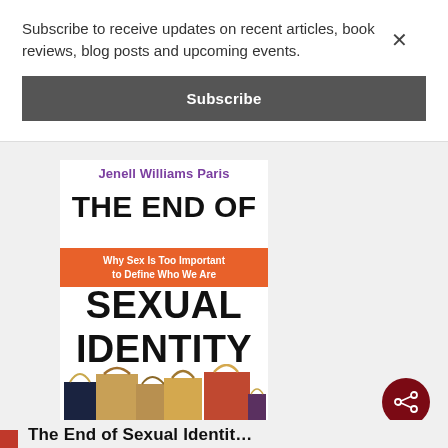Subscribe to receive updates on recent articles, book reviews, blog posts and upcoming events.
Subscribe
[Figure (photo): Book cover of 'The End of Sexual Identity' by Jenell Williams Paris. White background with bold black title text, orange banner reading 'Why Sex Is Too Important to Define Who We Are', author name in purple, and shopping bags at the bottom.]
The End of Sexual Identit…